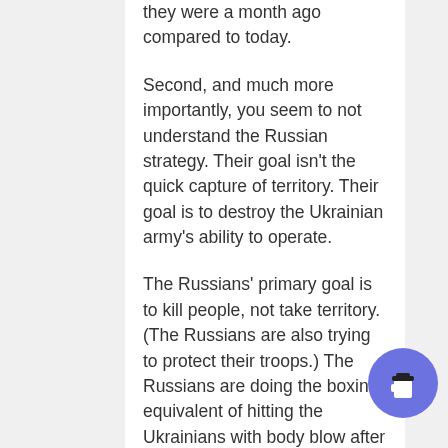they were a month ago compared to today.
Second, and much more importantly, you seem to not understand the Russian strategy. Their goal isn't the quick capture of territory. Their goal is to destroy the Ukrainian army's ability to operate.
The Russians' primary goal is to kill people, not take territory. (The Russians are also trying to protect their troops.) The Russians are doing the boxing equivalent of hitting the Ukrainians with body blow after body blow, figuring that eventually the Ukrainians